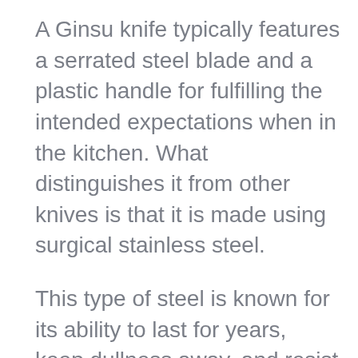A Ginsu knife typically features a serrated steel blade and a plastic handle for fulfilling the intended expectations when in the kitchen. What distinguishes it from other knives is that it is made using surgical stainless steel.
This type of steel is known for its ability to last for years, keep dullness away, and resist rust permanently. Thus, you get a blade of ultimate quality.
Another unique aspect of a Ginsu knife is that it is highly practical to use. These knives act as reliable cutlery tools for servicing various guests or big groups on different occasions with ease and